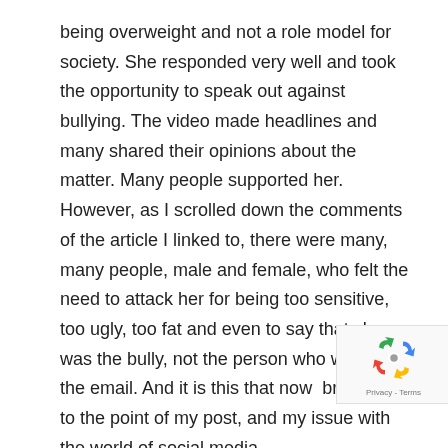being overweight and not a role model for society. She responded very well and took the opportunity to speak out against bullying. The video made headlines and many shared their opinions about the matter. Many people supported her. However, as I scrolled down the comments of the article I linked to, there were many, many people, male and female, who felt the need to attack her for being too sensitive, too ugly, too fat and even to say that she was the bully, not the person who wrote her the email. And it is this that now  brings me to the point of my post, and my issue with the world of social media.
As I scroll down the News Feed of Facebook, I
[Figure (other): reCAPTCHA badge with spinning arrows logo and Privacy - Terms text]